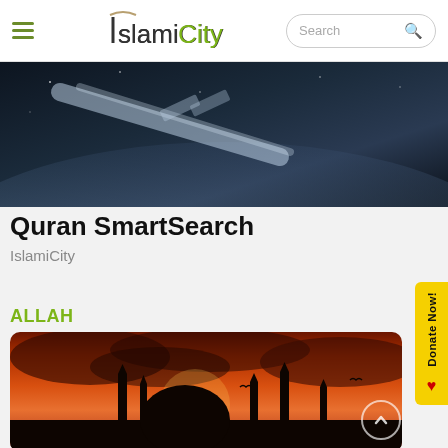IslamiCity | Search
[Figure (photo): Space/satellite view image with planet arc and glowing streak across dark sky]
Quran SmartSearch
IslamiCity
ALLAH
[Figure (photo): Mosque silhouette at sunset with orange and red sky, minarets against dramatic cloudy sky, sun visible behind dome]
[Figure (infographic): Yellow Donate Now! button with red heart on right side of page]